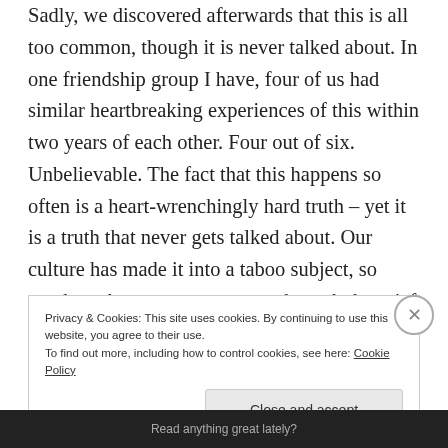Sadly, we discovered afterwards that this is all too common, though it is never talked about. In one friendship group I have, four of us had similar heartbreaking experiences of this within two years of each other. Four out of six. Unbelievable. The fact that this happens so often is a heart-wrenchingly hard truth – yet it is a truth that never gets talked about. Our culture has made it into a taboo subject, so much so that many parents go through the grief of losing their child silently on their own. Most have no idea that there are so many others that have been through the same thing and would grieve along with them, supporting and
Privacy & Cookies: This site uses cookies. By continuing to use this website, you agree to their use. To find out more, including how to control cookies, see here: Cookie Policy
Close and accept
Read anything great lately?